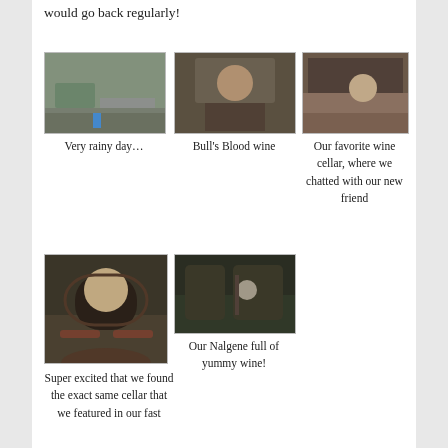would go back regularly!
[Figure (photo): Very rainy day outdoor road scene]
Very rainy day…
[Figure (photo): Man posing in front of Bull's Blood wine sign]
Bull's Blood wine
[Figure (photo): Woman sitting at a wine cellar bar counter]
Our favorite wine cellar, where we chatted with our new friend
[Figure (photo): Man smiling at wine cellar with wine glasses]
Super excited that we found the exact same cellar that we featured in our fast
[Figure (photo): Outdoor night scene of wine cellar entrance]
Our Nalgene full of yummy wine!